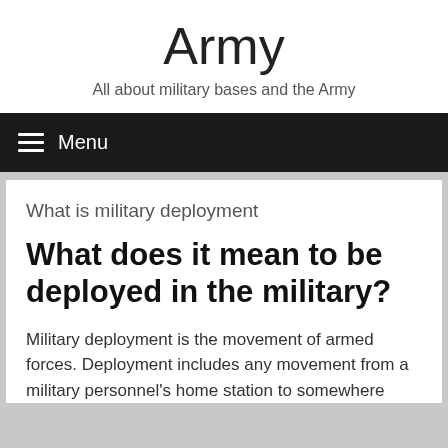Army
All about military bases and the Army
Menu
What is military deployment
What does it mean to be deployed in the military?
Military deployment is the movement of armed forces. Deployment includes any movement from a military personnel's home station to somewhere